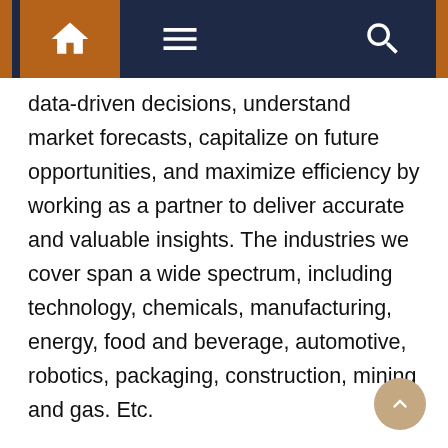Navigation bar with home, menu, and search icons
data-driven decisions, understand market forecasts, capitalize on future opportunities, and maximize efficiency by working as a partner to deliver accurate and valuable insights. The industries we cover span a wide spectrum, including technology, chemicals, manufacturing, energy, food and beverage, automotive, robotics, packaging, construction, mining and gas. Etc.

At Verified Market Research, we help in understanding holistic market indicator factors and most current and future market trends. Our analysts, with their deep expertise in data collection and